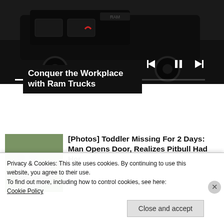[Figure (photo): Advertisement image showing a black Ram truck from the front/underside angle. Media player controls visible with a progress bar.]
Conquer the Workplace with Ram Trucks
[Figure (photo): Photo of a gray/blue pitbull dog standing on grass, looking at camera.]
[Photos] Toddler Missing For 2 Days: Man Opens Door, Realizes Pitbull Had Her
12Up
Privacy & Cookies: This site uses cookies. By continuing to use this website, you agree to their use.
To find out more, including how to control cookies, see here:
Cookie Policy
Close and accept